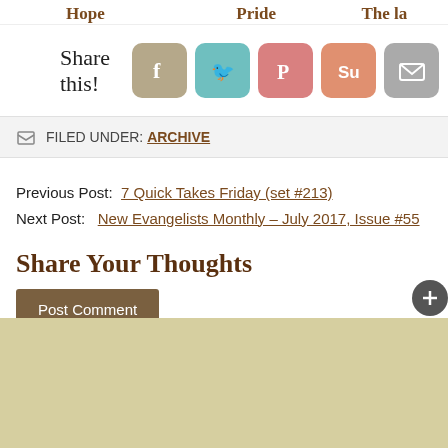Hope   Pride   The la
Share this!
[Figure (other): Social sharing icons: Facebook (beige), Twitter (teal), Pinterest (rose), StumbleUpon (orange), Email (gray)]
FILED UNDER: ARCHIVE
Previous Post:   7 Quick Takes Friday (set #213)
Next Post:   New Evangelists Monthly – July 2017, Issue #55
Share Your Thoughts
Post Comment